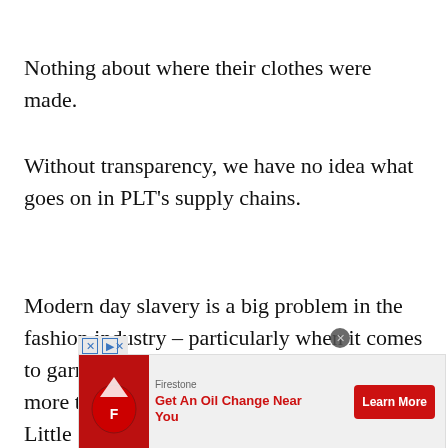Nothing about where their clothes were made.
Without transparency, we have no idea what goes on in PLT’s supply chains.
Modern day slavery is a big problem in the fashion industry – particularly when it comes to garment manufacturing – and we need more transparency from brands like Pretty Little
[Figure (other): Video player overlay showing 'No compatible source was found for this media.' with dark semi-transparent background]
[Figure (other): Firestone advertisement overlay: 'Get An Oil Change Near You' with red Learn More button and Firestone logo]